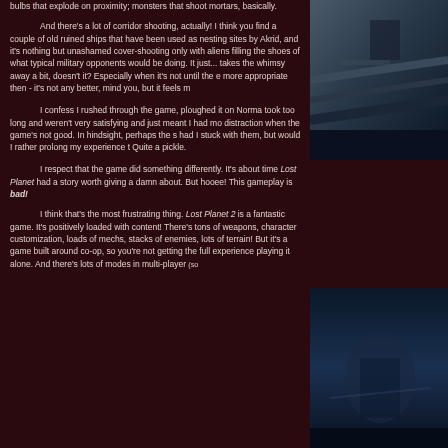bulbs that explode on proximity; monsters that shoot mortars, basically.

And there's a lot of corridor shooting, actually! I think you find a couple of old ruined ships that have been used as nesting sites by Akrid, and it's nothing but unashamed cover-shooting only with aliens filling the shoes of what typical military opponents would be doing. It just... takes the whimsy away a bit, doesn't it? Especially when it's not until the e... more appropriate then - it's not any better, mind you, but it feels m...

I confess I rushed through the game, ploughed it on Norma... took too long and weren't very satisfying and just meant I had mo... distraction when the game's not good. In hindsight, perhaps the s... had I stuck with them, but would I rather prolong my experience t... Quite a pickle.

I respect that the game did something differently. It's about time Lost Planet had a story worth giving a damn about. But hooee! This gameplay is bad!
I think that's the most frustrating thing. Lost Planet 2 is a fantastic game. It's positively loaded with content! There's tons of weapons, character customization, loads of mechs, stacks of enemies, lots of terrain! But it's a game built around co-op, so you're not getting the full experience playing it alone. And there's lots of modes in multi-player (so
[Figure (photo): Dark screenshot of a game environment - metallic/industrial scene with dark blue tones]
[Figure (photo): Dark screenshot of a game scene with blue ambient lighting and character/environment details]